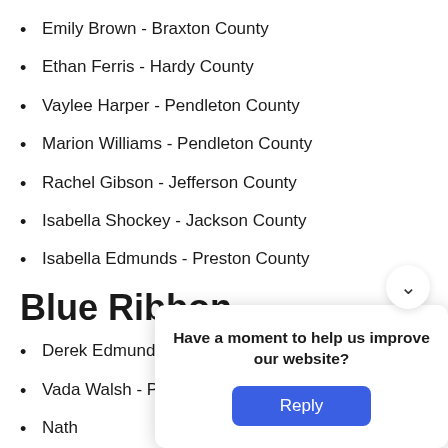Emily Brown - Braxton County
Ethan Ferris - Hardy County
Vaylee Harper - Pendleton County
Marion Williams - Pendleton County
Rachel Gibson - Jefferson County
Isabella Shockey - Jackson County
Isabella Edmunds - Preston County
Blue Ribbon
Derek Edmunds - Preston County
Vada Walsh - Preston County
Nath[obscured]
Dom[obscured]
Red[obscured]
[Figure (other): Modal dialog overlay asking 'Have a moment to help us improve our website?' with a Reply button]